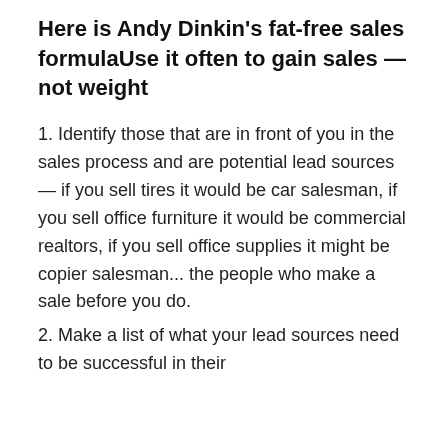Here is Andy Dinkin's fat-free sales formulaUse it often to gain sales — not weight
1. Identify those that are in front of you in the sales process and are potential lead sources — if you sell tires it would be car salesman, if you sell office furniture it would be commercial realtors, if you sell office supplies it might be copier salesman... the people who make a sale before you do.
2. Make a list of what your lead sources need to be successful in their